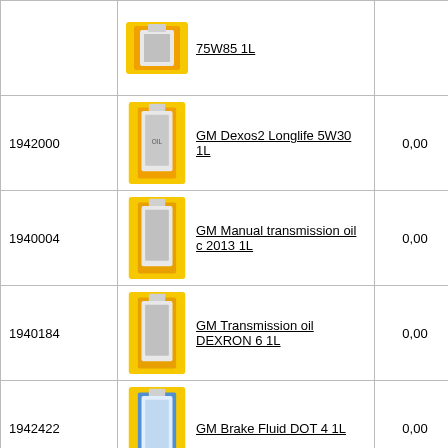| ID | Product | Price | Availability |
| --- | --- | --- | --- |
|  | 75W85 1L | 0,00 | н/д |
| 1942000 | GM Dexos2 Longlife 5W30 1L | 0,00 | н/д |
| 1940004 | GM Manual transmission oil с 2013 1L | 0,00 | н/д |
| 1940184 | GM Transmission oil DEXRON 6 1L | 0,00 | н/д |
| 1942422 | GM Brake Fluid DOT 4 1L | 0,00 | н/д |
| 1940663 | GM Antifreeze RED concentrate, Long Life 1L | 0,00 | н/д |
| 1940773 | GM Automatic transmission oil AF-40 1L | 0,00 | н/д |
|  |  |  |  |